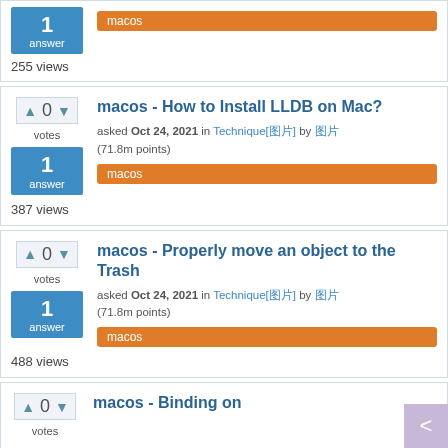1 answer, macos tag, 255 views (partial top card)
macos - How to Install LLDB on Mac?
asked Oct 24, 2021 in Technique[图片] by 图片 (71.8m points)
macos tag
387 views
macos - Properly move an object to the Trash
asked Oct 24, 2021 in Technique[图片] by 图片 (71.8m points)
macos tag
488 views
macos - Binding on